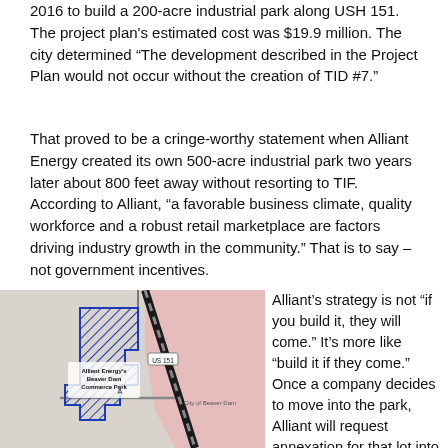2016 to build a 200-acre industrial park along USH 151. The project plan's estimated cost was $19.9 million. The city determined "The development described in the Project Plan would not occur without the creation of TID #7."
That proved to be a cringe-worthy statement when Alliant Energy created its own 500-acre industrial park two years later about 800 feet away without resorting to TIF. According to Alliant, "a favorable business climate, quality workforce and a robust retail marketplace are factors driving industry growth in the community." That is to say – not government incentives.
[Figure (map): Map showing Alliant Energy's Beaver Dam Commerce Park (blue hatched area on left) alongside US 151 highway (diagonal black road), with City of Beaver Dam label on right (pink area), and road label 'A' in center.]
Alliant's strategy is not "if you build it, they will come." It's more like "build it if they come." Once a company decides to move into the park, Alliant will request annexation for that lot into the